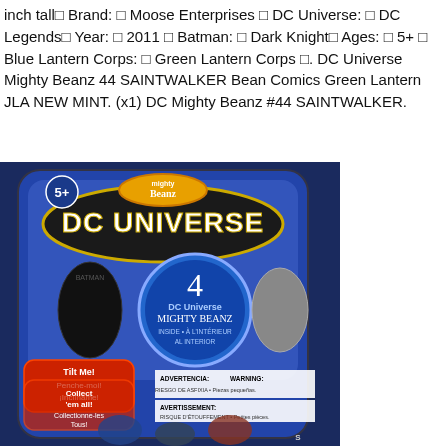inch tall□ Brand: □ Moose Enterprises □ DC Universe: □ DC Legends□ Year: □ 2011 □ Batman: □ Dark Knight□ Ages: □ 5+ □ Blue Lantern Corps: □ Green Lantern Corps □. DC Universe Mighty Beanz 44 SAINTWALKER Bean Comics Green Lantern JLA NEW MINT. (x1) DC Mighty Beanz #44 SAINTWALKER.
[Figure (photo): Photo of DC Universe Mighty Beanz product packaging featuring 4 DC Universe Mighty Beanz figures including Batman and other characters, with 'Tilt Me! Penche-moi! ¡Inclíname!' and 'Collect 'em all! Collectionne-les tous! ¡Colecciónelos Todos!' text on the packaging. Dark blue background.]